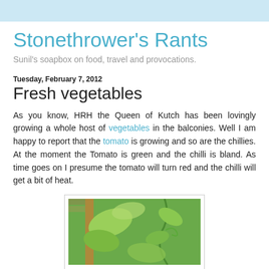Stonethrower's Rants
Sunil's soapbox on food, travel and provocations.
Tuesday, February 7, 2012
Fresh vegetables
As you know, HRH the Queen of Kutch has been lovingly growing a whole host of vegetables in the balconies. Well I am happy to report that the tomato is growing and so are the chillies. At the moment the Tomato is green and the chilli is bland. As time goes on I presume the tomato will turn red and the chilli will get a bit of heat.
[Figure (photo): A photograph of green vegetable plants growing on a balcony, with a wooden stake support visible on the left side.]